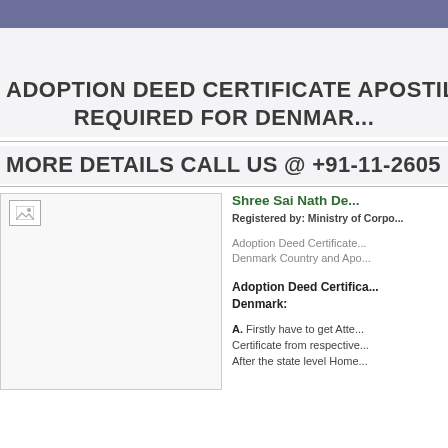ADOPTION DEED CERTIFICATE APOSTILLE F... REQUIRED FOR DENMAR...
MORE DETAILS CALL US @ +91-11-2605 260...
[Figure (photo): Image placeholder (broken image icon) in a light gray box on the left side of the content area]
Shree Sai Nath De...
Registered by: Ministry of Corpo...
Adoption Deed Certificate... Denmark Country and Apo...
Adoption Deed Certifica... Denmark:
A. Firstly have to get Atte... Certificate from respective... After the state level Home...